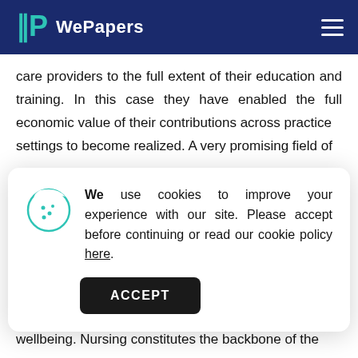WePapers
care providers to the full extent of their education and training. In this case they have enabled the full economic value of their contributions across practice settings to become realized. A very promising field of
We use cookies to improve your experience with our site. Please accept before continuing or read our cookie policy here.
the rates of infection hence facilitating the transition of patients from the hospital to home as they constantly check on them and keep up with their wellbeing. Nursing constitutes the backbone of the